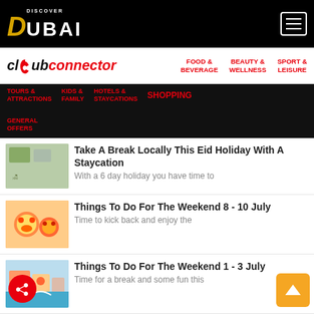DISCOVER DUBAI - Club Connector navigation
FOOD & BEVERAGE
BEAUTY & WELLNESS
SPORT & LEISURE
TOURS & ATTRACTIONS
KIDS & FAMILY
HOTELS & STAYCATIONS
SHOPPING
GENERAL OFFERS
Take A Break Locally This Eid Holiday With A Staycation
With a 6 day holiday you have time to
Things To Do For The Weekend 8 - 10 July
Time to kick back and enjoy the
Things To Do For The Weekend 1 - 3 July
Time for a break and some fun this
DSS Is Here Again!
Ten full weeks of Dubai Summer Surprises starts from 1 July running
The Laughter Factory Is Back For The July Tour